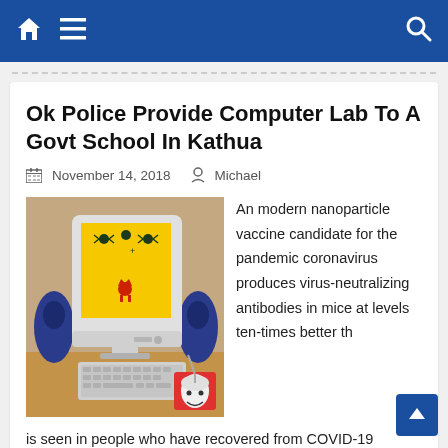Navigation bar with home, menu, and search icons
Ok Police Provide Computer Lab To A Govt School In Kathua
November 14, 2018   Michael
[Figure (illustration): Cartoon illustration of a desktop computer setup with monitor showing a yellow screen with game graphics, keyboard, mouse on red mousepad, and blue speakers]
An modern nanoparticle vaccine candidate for the pandemic coronavirus produces virus-neutralizing antibodies in mice at levels ten-times better th is seen in people who have recovered from COVID-19 infections. You can do your taxes with Free Revenue Tax On-